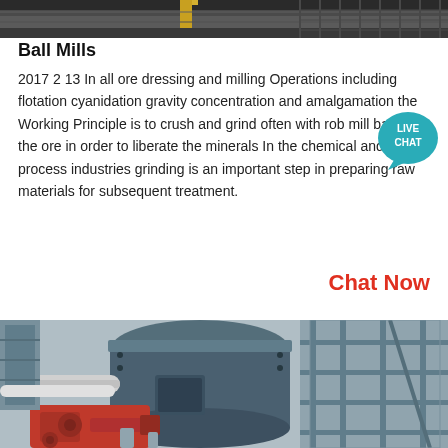[Figure (photo): Top portion of industrial machinery/conveyor belt, partially cropped]
Ball Mills
2017 2 13 In all ore dressing and milling Operations including flotation cyanidation gravity concentration and amalgamation the Working Principle is to crush and grind often with rob mill ball mills the ore in order to liberate the minerals In the chemical and process industries grinding is an important step in preparing raw materials for subsequent treatment.
[Figure (other): Live Chat button/badge overlay]
Chat Now
[Figure (photo): Industrial ball mill machinery photograph showing large cylindrical drum with red motor/drive assembly and metal scaffolding structure]